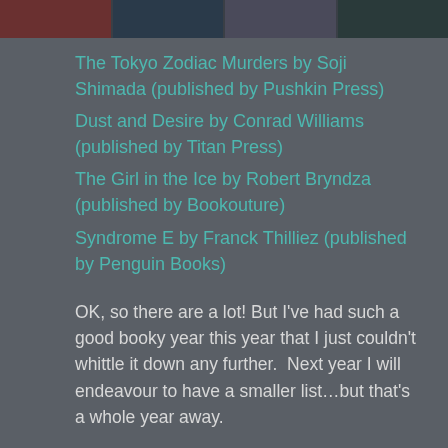[Figure (photo): Strip of book cover images at the top of the page]
The Tokyo Zodiac Murders by Soji Shimada (published by Pushkin Press)
Dust and Desire by Conrad Williams (published by Titan Press)
The Girl in the Ice by Robert Bryndza (published by Bookouture)
Syndrome E by Franck Thilliez (published by Penguin Books)
OK, so there are a lot! But I've had such a good booky year this year that I just couldn't whittle it down any further.  Next year I will endeavour to have a smaller list…but that's a whole year away.
I am extremely grateful for all of the wonderful support